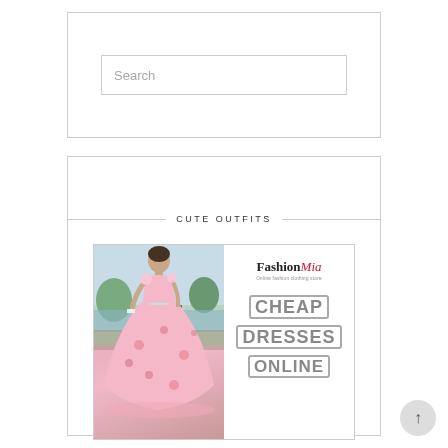[Figure (screenshot): Search box widget with placeholder text 'Search' inside a bordered container]
CUTE OUTFITS
[Figure (illustration): Fashion Mia advertisement showing a woman in a pink floral ball gown dress, with FashionMia brand logo and text 'CHEAP DRESSES ONLINE']